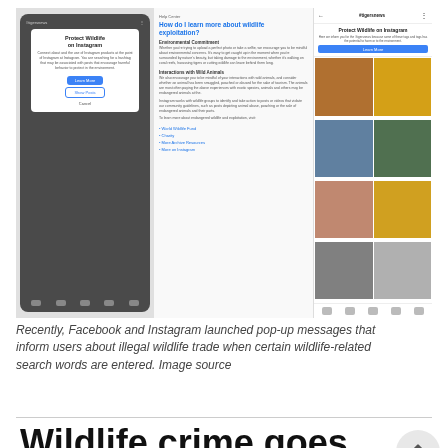[Figure (screenshot): Two mobile/browser screenshots showing Facebook/Instagram's 'Protect Wildlife on Instagram' pop-up messages and an Instagram grid of wildlife-related images under the #tigersnews hashtag.]
Recently, Facebook and Instagram launched pop-up messages that inform users about illegal wildlife trade when certain wildlife-related search words are entered. Image source
Wildlife crime goes digital
The trade in wildlife and wildlife